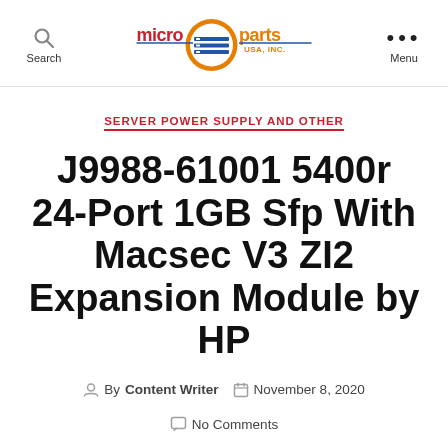Search | micro parts USA, INC. | Menu
SERVER POWER SUPPLY AND OTHER
J9988-61001 5400r 24-Port 1GB Sfp With Macsec V3 ZI2 Expansion Module by HP
By Content Writer  November 8, 2020  No Comments